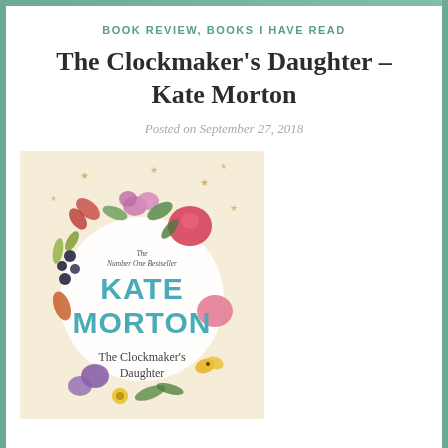BOOK REVIEW, BOOKS I HAVE READ
The Clockmaker’s Daughter – Kate Morton
Posted on September 27, 2018
[Figure (photo): Book cover of The Clockmaker's Daughter by Kate Morton, featuring a floral wreath design with roses and other flowers on a cream background, with the author name KATE MORTON in teal letters and subtitle The Clockmaker's Daughter. Small text reads The Number One Bestseller.]